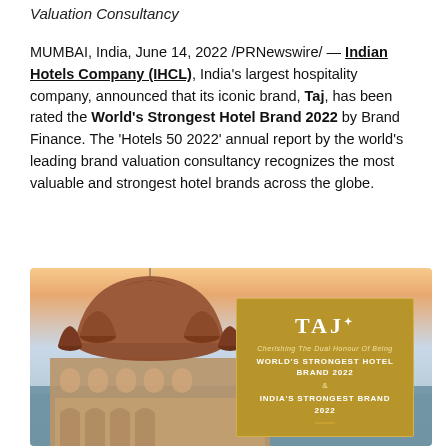Valuation Consultancy
MUMBAI, India, June 14, 2022 /PRNewswire/ — Indian Hotels Company (IHCL), India's largest hospitality company, announced that its iconic brand, Taj, has been rated the World's Strongest Hotel Brand 2022 by Brand Finance. The 'Hotels 50 2022' annual report by the world's leading brand valuation consultancy recognizes the most valuable and strongest hotel brands across the globe.
[Figure (photo): Photograph of the Taj Hotel (Gateway of India, Mumbai) with its iconic domed architecture at dusk/sunset against a pastel sky and sea, with a gold Taj branding card overlay on the right reading: 'TAJ — Cherishing The Dual Honour Of Being — WORLD'S STRONGEST HOTEL BRAND 2022 & INDIA'S STRONGEST BRAND 2022']